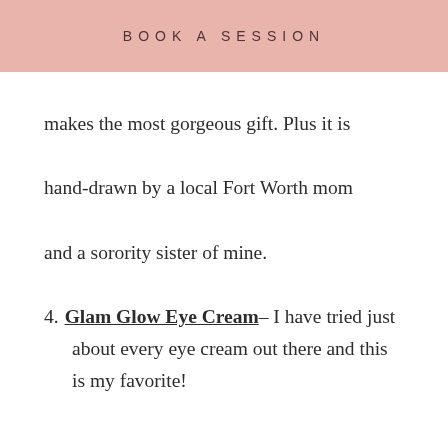BOOK A SESSION
makes the most gorgeous gift. Plus it is hand-drawn by a local Fort Worth mom and a sorority sister of mine.
4. Glam Glow Eye Cream– I have tried just about every eye cream out there and this is my favorite!